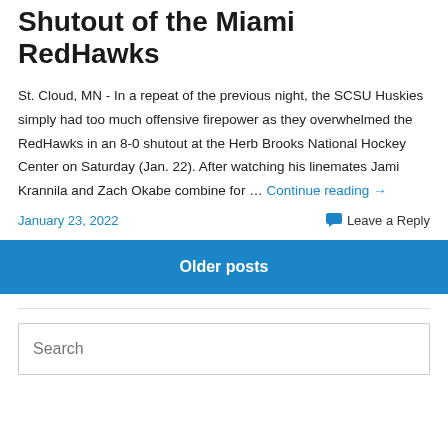Shutout of the Miami RedHawks
St. Cloud, MN - In a repeat of the previous night, the SCSU Huskies simply had too much offensive firepower as they overwhelmed the RedHawks in an 8-0 shutout at the Herb Brooks National Hockey Center on Saturday (Jan. 22). After watching his linemates Jami Krannila and Zach Okabe combine for … Continue reading →
January 23, 2022    Leave a Reply
Older posts
Search